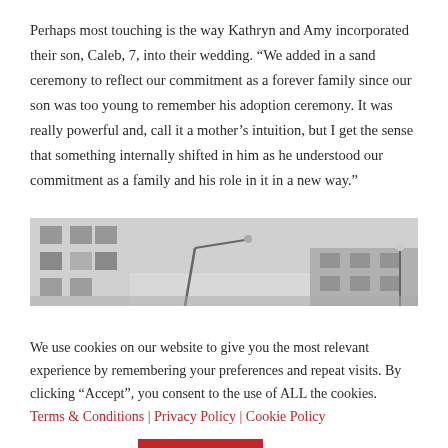Perhaps most touching is the way Kathryn and Amy incorporated their son, Caleb, 7, into their wedding. “We added in a sand ceremony to reflect our commitment as a forever family since our son was too young to remember his adoption ceremony. It was really powerful and, call it a mother’s intuition, but I get the sense that something internally shifted in him as he understood our commitment as a family and his role in it in a new way.”
[Figure (photo): Black and white photograph showing the lower portion of a building with windows on the left side, a street lamp in the center-left, and another building with a light on the right side.]
We use cookies on our website to give you the most relevant experience by remembering your preferences and repeat visits. By clicking “Accept”, you consent to the use of ALL the cookies. Terms & Conditions | Privacy Policy | Cookie Policy